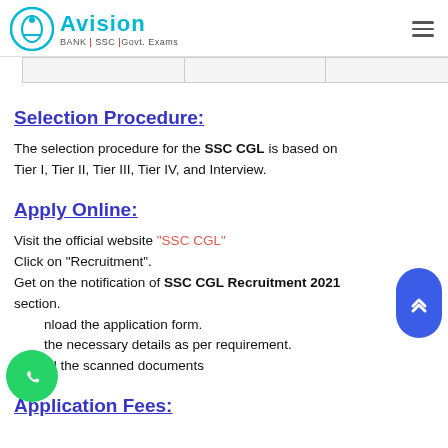Avision | BANK | SSC | Govt. Exams
|  |  |  |
Selection Procedure:
The selection procedure for the SSC CGL is based on Tier I, Tier II, Tier III, Tier IV, and Interview.
Apply Online:
Visit the official website “SSC CGL”
Click on “Recruitment”.
Get on the notification of SSC CGL Recruitment 2021 section.
Download the application form.
Fill the necessary details as per requirement.
Upload the scanned documents
Application Fees: